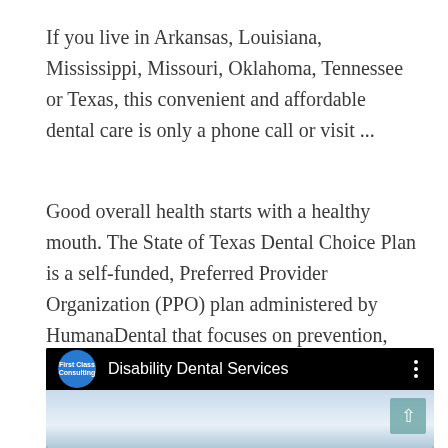If you live in Arkansas, Louisiana, Mississippi, Missouri, Oklahoma, Tennessee or Texas, this convenient and affordable dental care is only a phone call or visit ...
Good overall health starts with a healthy mouth. The State of Texas Dental Choice Plan is a self-funded, Preferred Provider Organization (PPO) plan administered by HumanaDental that focuses on prevention, early diagnosis, and treatment to help you stay healthy.
[Figure (screenshot): A YouTube-style video player header on black background showing a blue circular logo labeled 'First Class' and channel name 'Disability Dental Services' with a three-dot menu icon on the right. Below is a sky/cloud background image with a teal scroll-up button in the bottom right corner.]